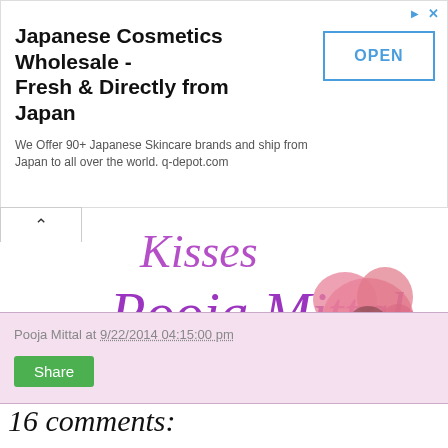[Figure (infographic): Advertisement banner for Japanese Cosmetics Wholesale. Title: 'Japanese Cosmetics Wholesale - Fresh & Directly from Japan'. Description: 'We Offer 90+ Japanese Skincare brands and ship from Japan to all over the world. q-depot.com'. Has an OPEN button on the right side.]
[Figure (illustration): Cursive script signature reading 'Kisses Pooja Mittal' in purple/violet color with a pink flower illustration overlapping the text.]
Pooja Mittal at 9/22/2014 04:15:00 pm
Share
16 comments: